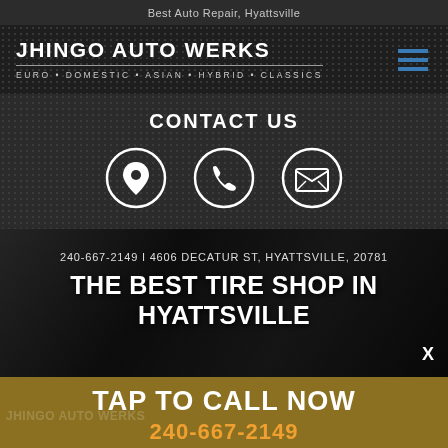Best Auto Repair, Hyattsville
JHINGO AUTO WERKS
EURO • DOMESTIC • ASIAN • HYBRID • CLASSICS
CONTACT US
[Figure (infographic): Three circular icon buttons: location pin, phone handset, and envelope/mail]
240-667-2149 | 4606 DECATUR ST, HYATTSVILLE, 20781
THE BEST TIRE SHOP IN HYATTSVILLE
TAP TO CALL NOW
240-667-2149
Tires are the single most important safety feature on